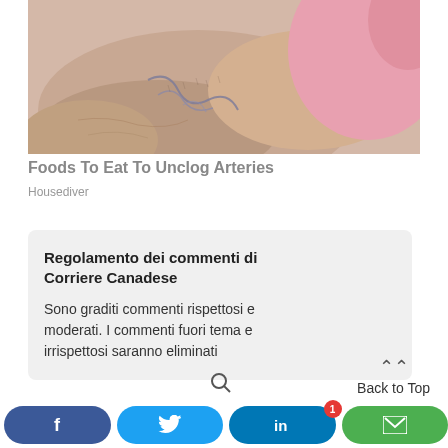[Figure (photo): Close-up photo of a human foot/ankle with visible varicose veins, being examined by a hand wearing a pink medical glove.]
Foods To Eat To Unclog Arteries
Housediver
Regolamento dei commenti di Corriere Canadese
Sono graditi commenti rispettosi e moderati. I commenti fuori tema e irrispettosi saranno eliminati
Back to Top